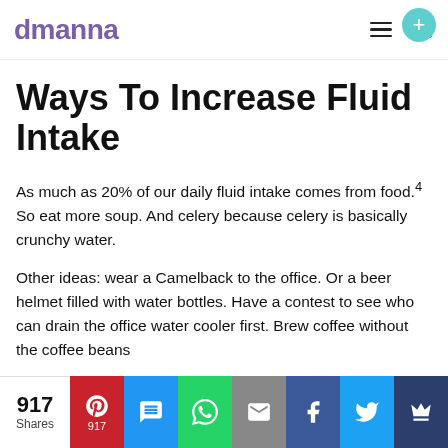dmanna
Ways To Increase Fluid Intake
As much as 20% of our daily fluid intake comes from food.4 So eat more soup. And celery because celery is basically crunchy water.
Other ideas: wear a Camelback to the office. Or a beer helmet filled with water bottles. Have a contest to see who can drain the office water cooler first. Brew coffee without the coffee beans...
917 Shares | Pinterest 917 | SMS | WhatsApp | Email | Facebook | Twitter | Crown